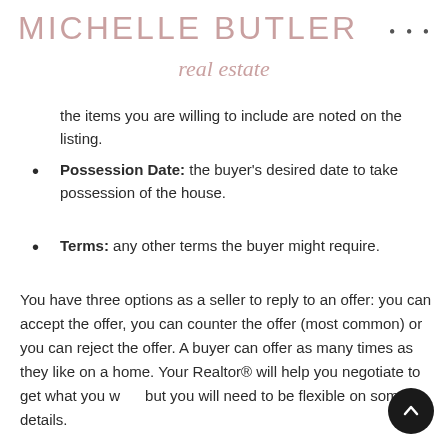MICHELLE BUTLER real estate
the items you are willing to include are noted on the listing.
Possession Date: the buyer's desired date to take possession of the house.
Terms: any other terms the buyer might require.
You have three options as a seller to reply to an offer: you can accept the offer, you can counter the offer (most common) or you can reject the offer. A buyer can offer as many times as they like on a home. Your Realtor® will help you negotiate to get what you want but you will need to be flexible on some details.